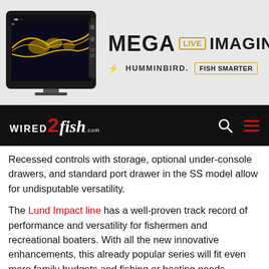[Figure (infographic): Humminbird MEGA Live Imaging advertisement banner with a fish finder monitor showing sonar imagery on the left, and MEGA LIVE IMAGING text with Humminbird logo and FISH SMARTER badge on the right]
WIRED 2 fish .com navigation bar with search and menu icons
Recessed controls with storage, optional under-console drawers, and standard port drawer in the SS model allow for undisputable versatility.
The Lund Impact line has a well-proven track record of performance and versatility for fishermen and recreational boaters. With all the new innovative enhancements, this already popular series will fit even more family budgets and fishing or boating needs.
Visit your nearest Lund Dealer for more information, or learn more about the Lund Impact line here. Construct your boat using the Lund Boat Builder site to view available